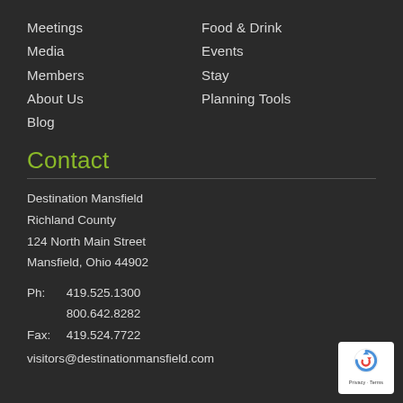Meetings
Food & Drink
Media
Events
Members
Stay
About Us
Planning Tools
Blog
Contact
Destination Mansfield
Richland County
124 North Main Street
Mansfield, Ohio 44902
Ph:  419.525.1300
     800.642.8282
Fax: 419.524.7722
visitors@destinationmansfield.com
[Figure (logo): reCAPTCHA badge with Privacy and Terms links]